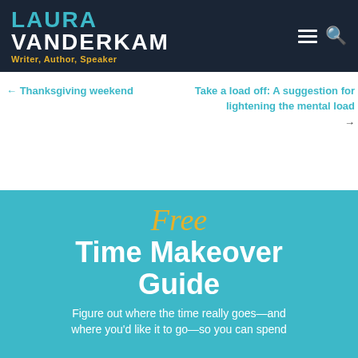LAURA VANDERKAM | Writer, Author, Speaker
← Thanksgiving weekend
Take a load off: A suggestion for lightening the mental load →
Free Time Makeover Guide
Figure out where the time really goes—and where you'd like it to go—so you can spend